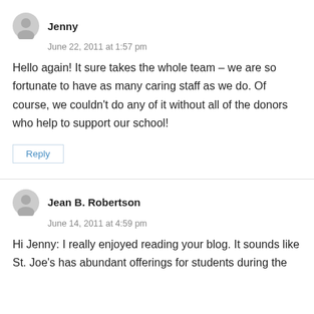Jenny
June 22, 2011 at 1:57 pm
Hello again! It sure takes the whole team – we are so fortunate to have as many caring staff as we do. Of course, we couldn't do any of it without all of the donors who help to support our school!
Reply
Jean B. Robertson
June 14, 2011 at 4:59 pm
Hi Jenny: I really enjoyed reading your blog. It sounds like St. Joe's has abundant offerings for students during the